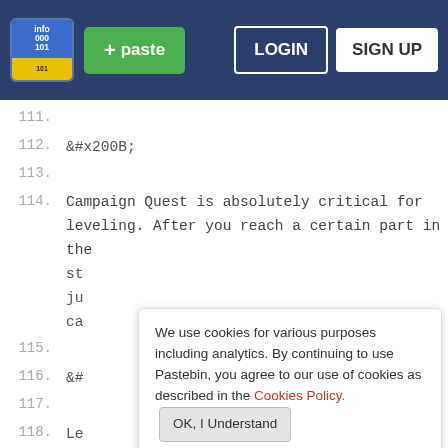Pastebin header with logo, + paste button, LOGIN and SIGN UP buttons
111.
112. &#x200B;
113.
114. Campaign Quest is absolutely critical for leveling. After you reach a certain part in the st ju ca
115.
116. &#
117.
118. Le
until you can 1-shot it and come back to it later, or use it if you need to level up characters). It's the easiest XP quest, most AP efficient, and provides a considerable amount of loot. I didn't really check how many half-olivine are used up
We use cookies for various purposes including analytics. By continuing to use Pastebin, you agree to our use of cookies as described in the Cookies Policy.  OK, I Understand
Not a member of Pastebin yet? Sign Up, it unlocks many cool features!